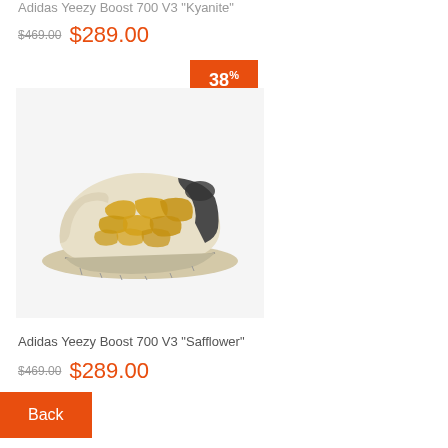Adidas Yeezy Boost 700 V3 "Kyanite"
$469.00  $289.00
[Figure (photo): Adidas Yeezy Boost 700 V3 Safflower sneaker on light gray background with orange 38% OFF badge]
Adidas Yeezy Boost 700 V3 "Safflower"
$469.00  $289.00
Back